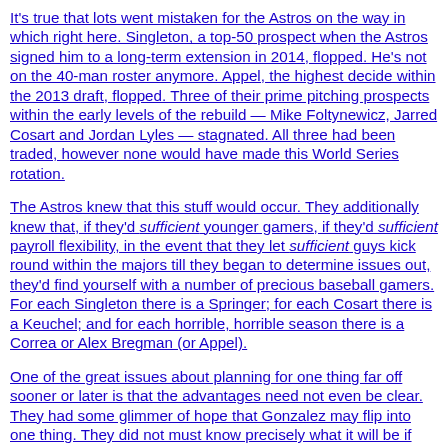It's true that lots went mistaken for the Astros on the way in which right here. Singleton, a top-50 prospect when the Astros signed him to a long-term extension in 2014, flopped. He's not on the 40-man roster anymore. Appel, the highest decide within the 2013 draft, flopped. Three of their prime pitching prospects within the early levels of the rebuild — Mike Foltynewicz, Jarred Cosart and Jordan Lyles — stagnated. All three had been traded, however none would have made this World Series rotation.
The Astros knew that this stuff would occur. They additionally knew that, if they'd sufficient younger gamers, if they'd sufficient payroll flexibility, in the event that they let sufficient guys kick round within the majors till they began to determine issues out, they'd find yourself with a number of precious baseball gamers. For each Singleton there is a Springer; for each Cosart there is a Keuchel; and for each horrible, horrible season there is a Correa or Alex Bregman (or Appel).
One of the great issues about planning for one thing far off sooner or later is that the advantages need not even be clear. They had some glimmer of hope that Gonzalez may flip into one thing. They did not must know precisely what it will be if...